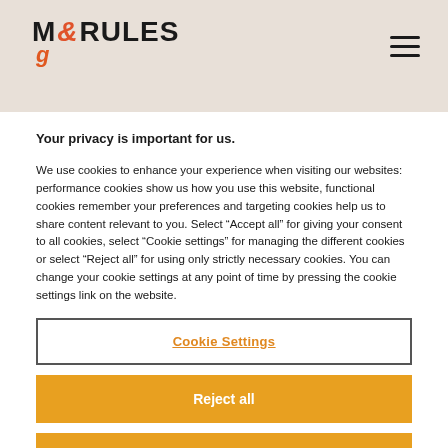M&RULES
Your privacy is important for us.
We use cookies to enhance your experience when visiting our websites: performance cookies show us how you use this website, functional cookies remember your preferences and targeting cookies help us to share content relevant to you. Select “Accept all” for giving your consent to all cookies, select “Cookie settings” for managing the different cookies or select “Reject all” for using only strictly necessary cookies. You can change your cookie settings at any point of time by pressing the cookie settings link on the website.
Cookie Settings
Reject all
Accept all